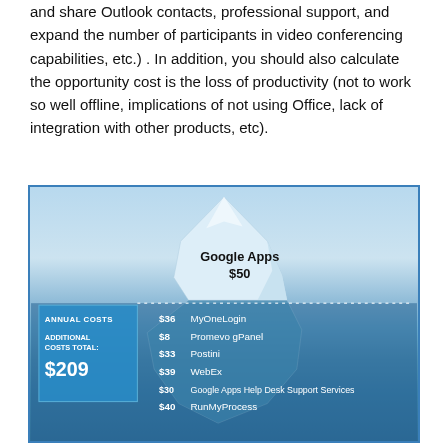and share Outlook contacts, professional support, and expand the number of participants in video conferencing capabilities, etc.) . In addition, you should also calculate the opportunity cost is the loss of productivity (not to work so well offline, implications of not using Office, lack of integration with other products, etc).
[Figure (infographic): Iceberg infographic showing Google Apps true cost. Above water: Google Apps $50. Below water: Annual Costs, Additional Costs Total $209, with line items: $36 MyOneLogin, $8 Promevo gPanel, $33 Postini, $39 WebEx, $30 Google Apps Help Desk Support Services, $40 RunMyProcess.]